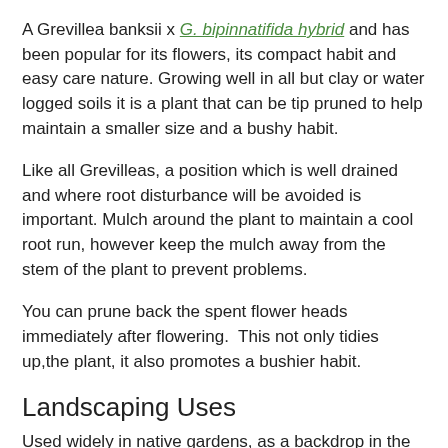A Grevillea banksii x G. bipinnatifida hybrid and has been popular for its flowers, its compact habit and easy care nature. Growing well in all but clay or water logged soils it is a plant that can be tip pruned to help maintain a smaller size and a bushy habit.
Like all Grevilleas, a position which is well drained and where root disturbance will be avoided is important. Mulch around the plant to maintain a cool root run, however keep the mulch away from the stem of the plant to prevent problems.
You can prune back the spent flower heads immediately after flowering.  This not only tidies up,the plant, it also promotes a bushier habit.
Landscaping Uses
Used widely in native gardens, as a backdrop in the garden border or as a feature plant. It can also be planted as an informal hedge. Popular for the flowers as well as for attracting native birds.